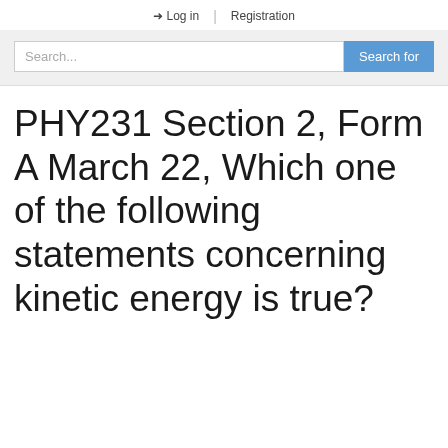➜ Log in | Registration
PHY231 Section 2, Form A March 22, Which one of the following statements concerning kinetic energy is true?